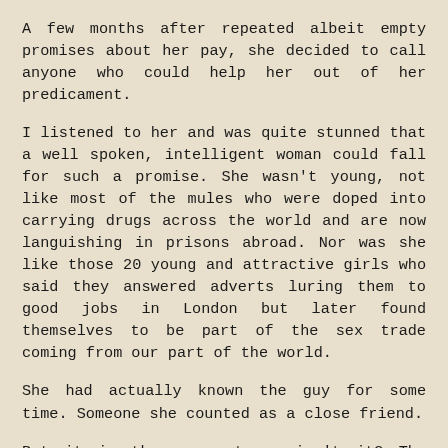A few months after repeated albeit empty promises about her pay, she decided to call anyone who could help her out of her predicament.
I listened to her and was quite stunned that a well spoken, intelligent woman could fall for such a promise. She wasn't young, not like most of the mules who were doped into carrying drugs across the world and are now languishing in prisons abroad. Nor was she like those 20 young and attractive girls who said they answered adverts luring them to good jobs in London but later found themselves to be part of the sex trade coming from our part of the world.
She had actually known the guy for some time. Someone she counted as a close friend.
But it is the same story, isn't it? The promise of a good life in greener pastures, the pot of gold at the end of the rainbow.
Don't these people have alarm bells ringing in their heads when approached with such too good to be true offers? And